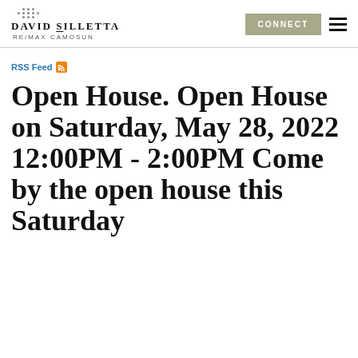DAVID SILLETTA RE/MAX CAMOSUN
RSS Feed
Open House. Open House on Saturday, May 28, 2022 12:00PM - 2:00PM Come by the open house this Saturday